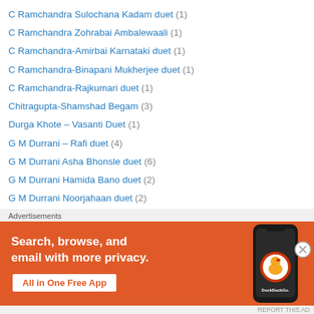C Ramchandra Sulochana Kadam duet (1)
C Ramchandra Zohrabai Ambalewaali (1)
C Ramchandra-Amirbai Karnataki duet (1)
C Ramchandra-Binapani Mukherjee duet (1)
C Ramchandra-Rajkumari duet (1)
Chitragupta-Shamshad Begam (3)
Durga Khote – Vasanti Duet (1)
G M Durrani – Rafi duet (4)
G M Durrani Asha Bhonsle duet (6)
G M Durrani Hamida Bano duet (2)
G M Durrani Noorjahaan duet (2)
G M Durrani Parul Ghosh duet (1)
G M Durrani Rajkumari duet (10)
G M Durrani Shamshad Begam duet (19)
[Figure (infographic): DuckDuckGo advertisement banner with text 'Search, browse, and email with more privacy. All in One Free App' on orange background with phone illustration]